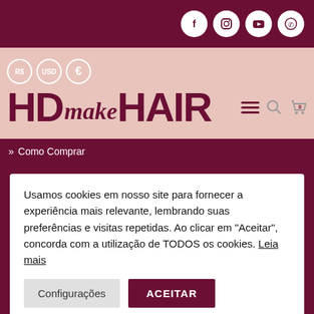HD make HAIR — social icons: Facebook, Instagram, YouTube, WhatsApp
[Figure (logo): HD make HAIR logo with currency selectors (R$, USD, €), hamburger menu, search and cart icons]
» Como Comprar
Usamos cookies em nosso site para fornecer a experiência mais relevante, lembrando suas preferências e visitas repetidas. Ao clicar em "Aceitar", concorda com a utilização de TODOS os cookies. Leia mais
Configurações | ACEITAR